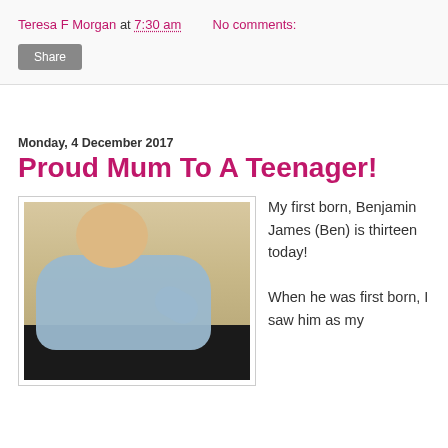Teresa F Morgan at 7:30 am   No comments:
Share
Monday, 4 December 2017
Proud Mum To A Teenager!
[Figure (photo): A newborn baby in a light blue onesie sleeping on a cream sofa]
My first born, Benjamin James (Ben) is thirteen today!

When he was first born, I saw him as my